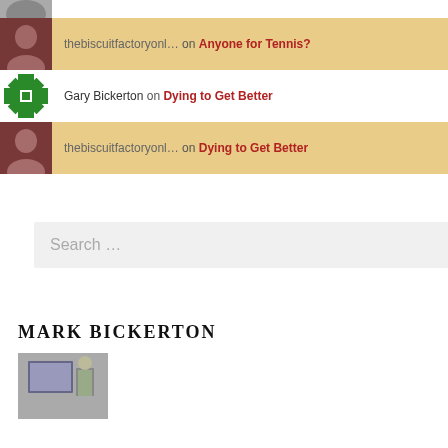[Figure (photo): Partial avatar photo cropped at top]
thebiscuitfactoryonl… on Anyone for Tennis?
Gary Bickerton on Dying to Get Better
thebiscuitfactoryonl… on Dying to Get Better
Search …
MARK BICKERTON
[Figure (photo): Thumbnail photo of person at presentation with screen]